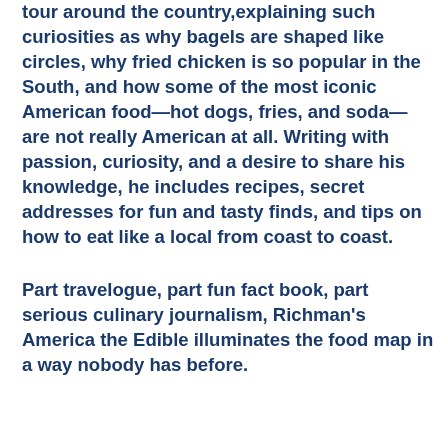tour around the country,explaining such curiosities as why bagels are shaped like circles, why fried chicken is so popular in the South, and how some of the most iconic American food—hot dogs, fries, and soda—are not really American at all. Writing with passion, curiosity, and a desire to share his knowledge, he includes recipes, secret addresses for fun and tasty finds, and tips on how to eat like a local from coast to coast.
Part travelogue, part fun fact book, part serious culinary journalism, Richman's America the Edible illuminates the food map in a way nobody has before.